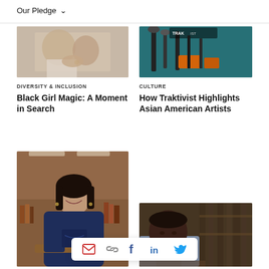Our Pledge
[Figure (photo): Close-up of two people holding hands outdoors, one wearing a white top with rings visible]
DIVERSITY & INCLUSION
Black Girl Magic: A Moment in Search
[Figure (photo): Studio podcast/recording setup with microphones and orange equipment against a teal background with TRAKTIVIST sign]
CULTURE
How Traktivist Highlights Asian American Artists
[Figure (photo): Young woman in navy blue hoodie smiling in a library setting, leaning on a railing]
[Figure (photo): Black man in business casual attire sitting at a desk with books in background]